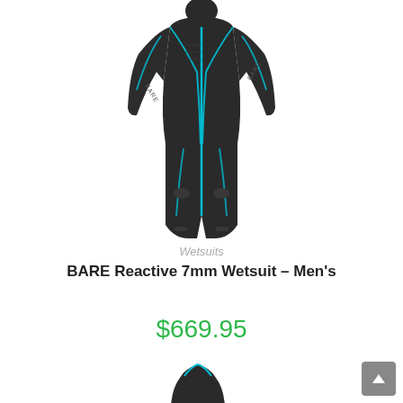[Figure (photo): BARE Reactive 7mm Men's wetsuit displayed on a model/mannequin, black with teal/cyan piping and accents, full-body view from front]
Wetsuits
BARE Reactive 7mm Wetsuit – Men's
$669.95
[Figure (photo): Partial view of a second wetsuit product at the bottom of the page]
[Figure (other): Scroll-to-top button in bottom right corner]